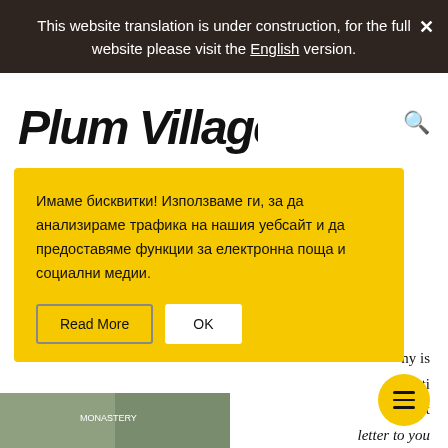This website translation is under construction, for the full website please visit the English version.
[Figure (logo): Plum Village handwritten logo in black ink script]
Имаме бисквитки! Използваме ги, за да анализираме трафика на нашия уебсайт и да предоставяме функции за електронна поща и социални медии.
Read More   OK
ny is
iti
writ
letter to you